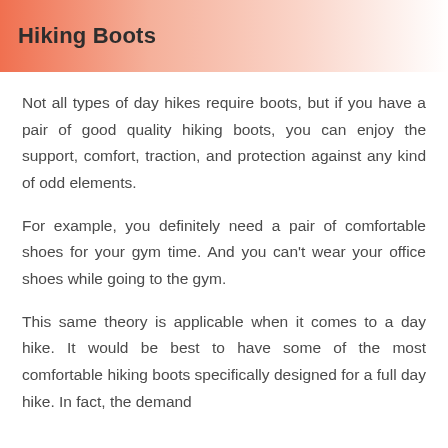Hiking Boots
Not all types of day hikes require boots, but if you have a pair of good quality hiking boots, you can enjoy the support, comfort, traction, and protection against any kind of odd elements.
For example, you definitely need a pair of comfortable shoes for your gym time. And you can't wear your office shoes while going to the gym.
This same theory is applicable when it comes to a day hike. It would be best to have some of the most comfortable hiking boots specifically designed for a full day hike. In fact, the demand